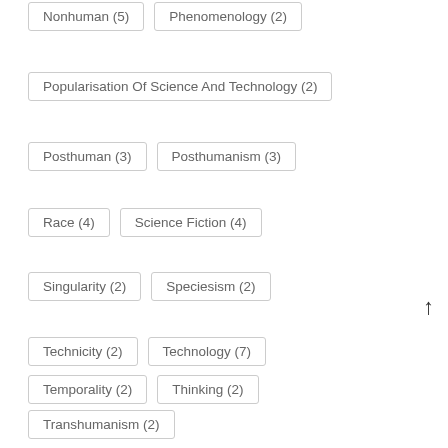Nonhuman (5)
Phenomenology (2)
Popularisation Of Science And Technology (2)
Posthuman (3)
Posthumanism (3)
Race (4)
Science Fiction (4)
Singularity (2)
Speciesism (2)
Technicity (2)
Technology (7)
Temporality (2)
Thinking (2)
Transhumanism (2)